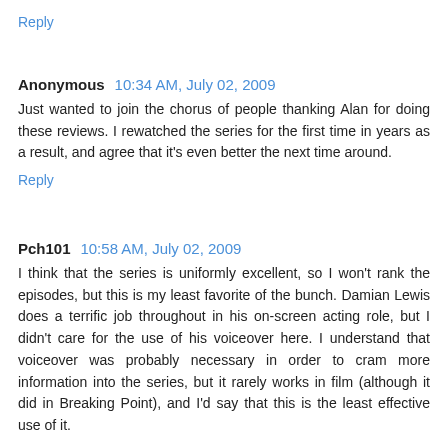Reply
Anonymous  10:34 AM, July 02, 2009
Just wanted to join the chorus of people thanking Alan for doing these reviews. I rewatched the series for the first time in years as a result, and agree that it's even better the next time around.
Reply
Pch101  10:58 AM, July 02, 2009
I think that the series is uniformly excellent, so I won't rank the episodes, but this is my least favorite of the bunch. Damian Lewis does a terrific job throughout in his on-screen acting role, but I didn't care for the use of his voiceover here. I understand that voiceover was probably necessary in order to cram more information into the series, but it rarely works in film (although it did in Breaking Point), and I'd say that this is the least effective use of it.